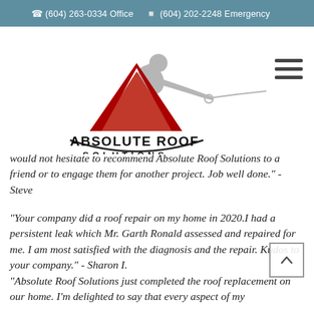☎ (604) 263-0334 Office  ☐ (604) 202-2248 Emergency
[Figure (logo): Absolute Roof Solutions logo with a grey silhouette of a roofer rappelling and a red triangle/roof shape with text ABSOLUTE ROOF SOLUTIONS]
would not hesitate to recommend Absolute Roof Solutions to a friend or to engage them for another project. Job well done." - Steve
"Your company did a roof repair on my home in 2020.I had a persistent leak which Mr. Garth Ronald assessed and repaired for me. I am most satisfied with the diagnosis and the repair. Kudos to your company." - Sharon I.
"Absolute Roof Solutions just completed the roof replacement on our home. I'm delighted to say that every aspect of my